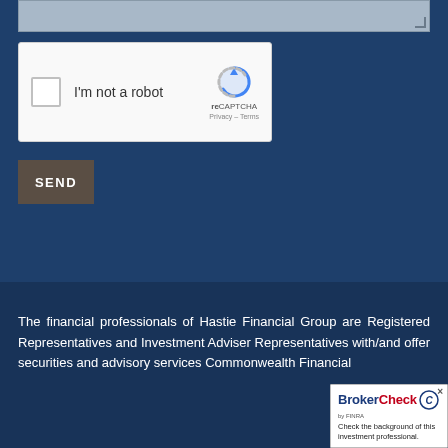[Figure (screenshot): Textarea input field (top portion visible, grayed background) at the top of a dark blue contact form section]
[Figure (screenshot): reCAPTCHA widget with checkbox labeled 'I'm not a robot', reCAPTCHA logo, Privacy and Terms links]
[Figure (screenshot): Dark brown SEND button with white bold text]
The financial professionals of Hastie Financial Group are Registered Representatives and Investment Adviser Representatives with/and offer securities and advisory services Commonwealth Financial
[Figure (logo): BrokerCheck by FINRA badge with text 'Check the background of this investment professional.' and close button]